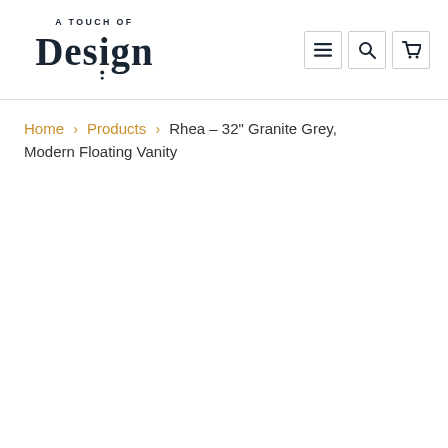[Figure (logo): A Touch of Design logo — stylized text logo with 'A TOUCH OF' in small caps above large 'Design' text, dark navy/charcoal color]
Menu, Search, Cart navigation icons
Home > Products > Rhea - 32" Granite Grey, Modern Floating Vanity